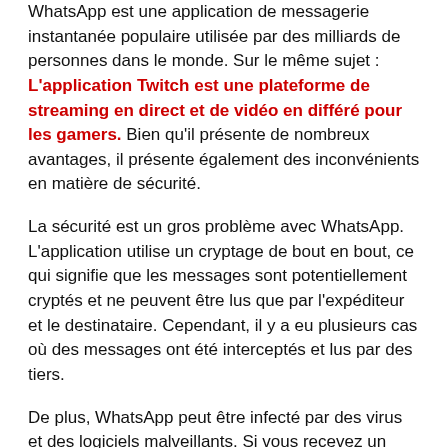WhatsApp est une application de messagerie instantanée populaire utilisée par des milliards de personnes dans le monde. Sur le même sujet : L'application Twitch est une plateforme de streaming en direct et de vidéo en différé pour les gamers. Bien qu'il présente de nombreux avantages, il présente également des inconvénients en matière de sécurité.
La sécurité est un gros problème avec WhatsApp. L'application utilise un cryptage de bout en bout, ce qui signifie que les messages sont potentiellement cryptés et ne peuvent être lus que par l'expéditeur et le destinataire. Cependant, il y a eu plusieurs cas où des messages ont été interceptés et lus par des tiers.
De plus, WhatsApp peut être infecté par des virus et des logiciels malveillants. Si vous recevez un message d'un contact, cela pourrait potentiellement infecter votre appareil. Cela peut entraîner la perte de données ou l'infection de vos contacts.